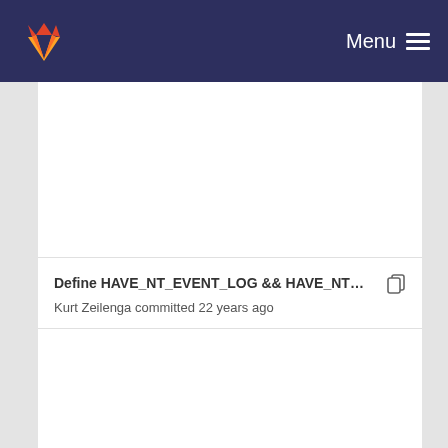Menu
Define HAVE_NT_EVENT_LOG && HAVE_NT_SER...
Kurt Zeilenga committed 22 years ago
Add configure tests for ssize_t and caddr_t and re...
Kurt Zeilenga committed 22 years ago
Make that LDAP_NEEDS_PROTOTYPES... might a...
Kurt Zeilenga committed 22 years ago